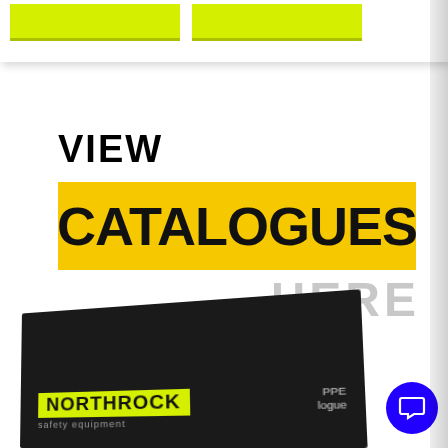[Figure (screenshot): Two yellow/lime highlight bars at the top of the page, partially cropped]
VIEW
CATALOGUES
HERE
[Figure (photo): Northrock Safety Equipment PPE Catalogue booklet shown in perspective, dark cover with yellow Northrock logo badge]